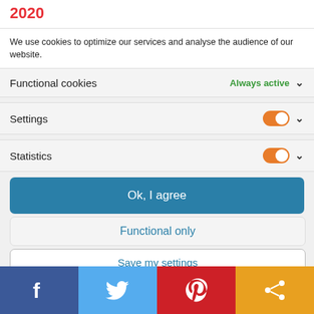2020
We use cookies to optimize our services and analyse the audience of our website.
Functional cookies — Always active
Settings — (toggle on)
Statistics — (toggle on)
Ok, I agree
Functional only
Save my settings
[Figure (infographic): Social share bar at bottom with Facebook, Twitter, Pinterest, and share icons in colored sections]